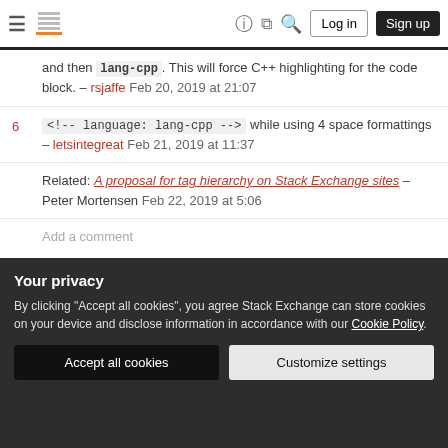Stack Exchange site header with hamburger menu, logo, icons, Log in, Sign up buttons
and then lang-cpp. This will force C++ highlighting for the code block. – rsjaffe Feb 20, 2019 at 21:07
6  <!-- language: lang-cpp --> while using 4 space formattings – letsintegreat Feb 21, 2019 at 11:37
Related: A proposal for tag hierarchy on Stack Exchange sites – Peter Mortensen Feb 22, 2019 at 5:06
Add a comment
2 Answers
Sorted by:
Your privacy
By clicking "Accept all cookies", you agree Stack Exchange can store cookies on your device and disclose information in accordance with our Cookie Policy.
Accept all cookies  Customize settings